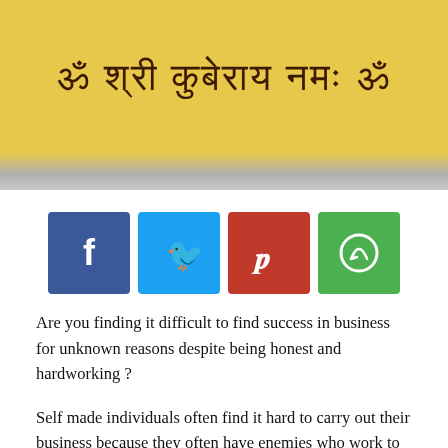[Figure (photo): Yellow painted object (likely a Hindu religious item) with Devanagari script text in dark brown/black reading Sanskrit mantra]
[Figure (infographic): Social media share buttons: Facebook (blue), Twitter (light blue), Pinterest (red), WhatsApp (green)]
Are you finding it difficult to find success in business for unknown reasons despite being honest and hardworking ?
Self made individuals often find it hard to carry out their business because they often have enemies who work to undermine all that hard work. One way to counter these enemies is to worship Hanumanji.
It is highly recommended that you chant following lines from